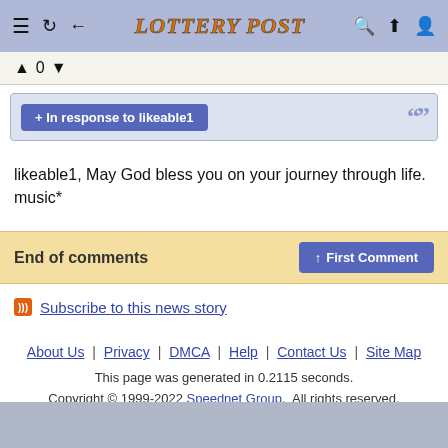LOTTERY POST
▲ 0 ▼
+ In response to likeable1
likeable1, May God bless you on your journey through life. music*
End of comments   ↑ First Comment
Subscribe to this news story
About Us | Privacy | DMCA | Help | Contact Us | Site Map
This page was generated in 0.2115 seconds. Copyright © 1999-2022 Speednet Group. All rights reserved.